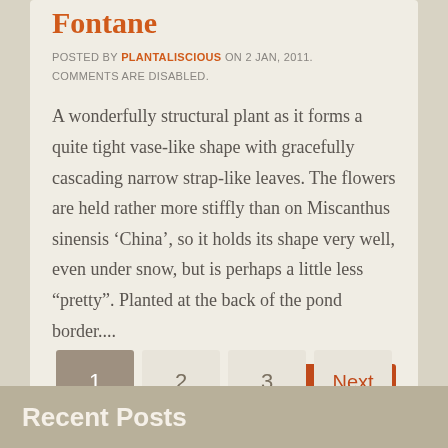Fontane
POSTED BY PLANTALISCIOUS ON 2 JAN, 2011. COMMENTS ARE DISABLED.
A wonderfully structural plant as it forms a quite tight vase-like shape with gracefully cascading narrow strap-like leaves. The flowers are held rather more stiffly than on Miscanthus sinensis ‘China’, so it holds its shape very well, even under snow, but is perhaps a little less “pretty”. Planted at the back of the pond border....
Read more...
1
2
3
Next
Recent Posts